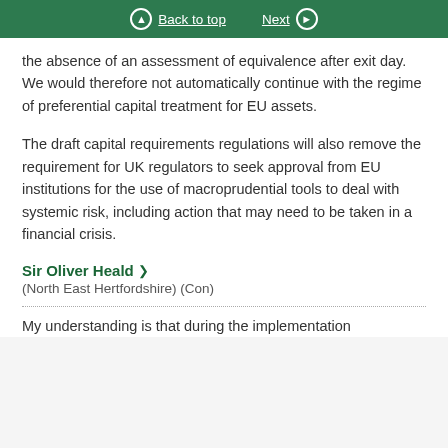Back to top  Next
the absence of an assessment of equivalence after exit day. We would therefore not automatically continue with the regime of preferential capital treatment for EU assets.
The draft capital requirements regulations will also remove the requirement for UK regulators to seek approval from EU institutions for the use of macroprudential tools to deal with systemic risk, including action that may need to be taken in a financial crisis.
Sir Oliver Heald
(North East Hertfordshire) (Con)
My understanding is that during the implementation